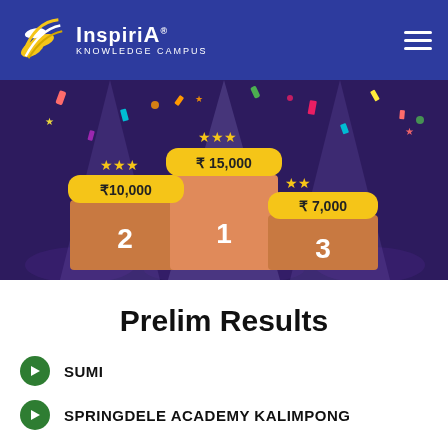Inspiria Knowledge Campus
[Figure (illustration): Podium illustration showing 1st, 2nd, and 3rd place winners with prize amounts: 1st place ₹15,000 (3 stars), 2nd place ₹10,000 (3 stars), 3rd place ₹7,000 (2 stars). Colorful confetti in background with spotlights.]
Prelim Results
SUMI
SPRINGDELE ACADEMY KALIMPONG